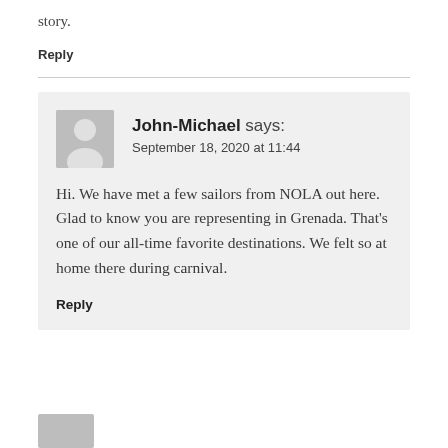story.
Reply
John-Michael says:
September 18, 2020 at 11:44

Hi. We have met a few sailors from NOLA out here. Glad to know you are representing in Grenada. That's one of our all-time favorite destinations. We felt so at home there during carnival.

Reply